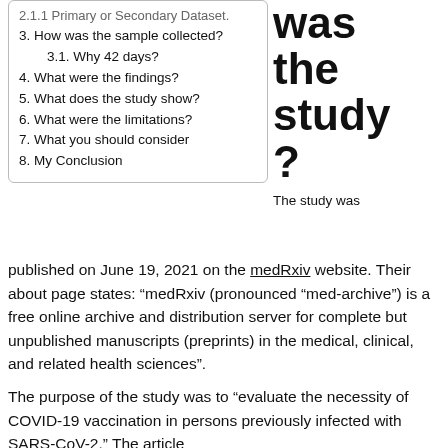2.1.1 Primary or Secondary Dataset.
3. How was the sample collected?
3.1. Why 42 days?
4. What were the findings?
5. What does the study show?
6. What were the limitations?
7. What you should consider
8. My Conclusion
was the study?
The study was published on June 19, 2021 on the medRxiv website. Their about page states: “medRxiv (pronounced “med-archive”) is a free online archive and distribution server for complete but unpublished manuscripts (preprints) in the medical, clinical, and related health sciences”.
The purpose of the study was to “evaluate the necessity of COVID-19 vaccination in persons previously infected with SARS-CoV-2.” The article